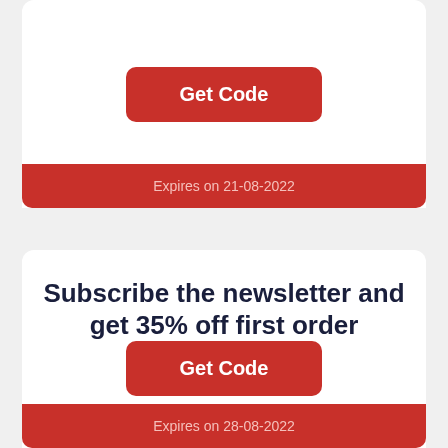Get Code
Expires on 21-08-2022
Subscribe the newsletter and get 35% off first order
Get Code
Expires on 28-08-2022